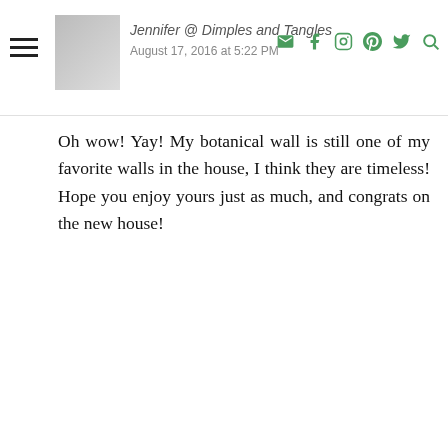Jennifer @ Dimples and Tangles | August 17, 2016 at 5:22 PM
Oh wow! Yay! My botanical wall is still one of my favorite walls in the house, I think they are timeless! Hope you enjoy yours just as much, and congrats on the new house!
Faw
August 16, 2016 at 4:35 PM
Keep the name. I remember it and look for it. Too many popping up to keep it all clear.
I like seeing your ideas. I love green. Love seeing what you do with greens.